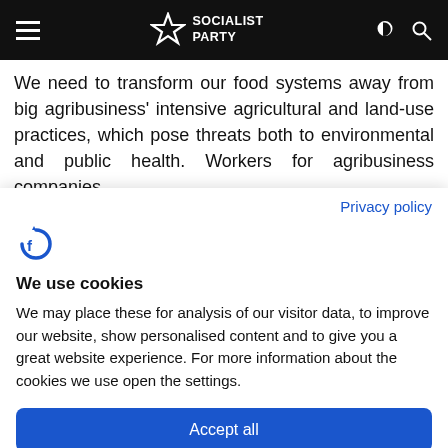Socialist Party
We need to transform our food systems away from big agribusiness' intensive agricultural and land-use practices, which pose threats both to environmental and public health. Workers for agribusiness companies
Privacy policy
[Figure (logo): Cookiebot logo icon — circular arrow with F]
We use cookies
We may place these for analysis of our visitor data, to improve our website, show personalised content and to give you a great website experience. For more information about the cookies we use open the settings.
Accept all
Deny
No, adjust